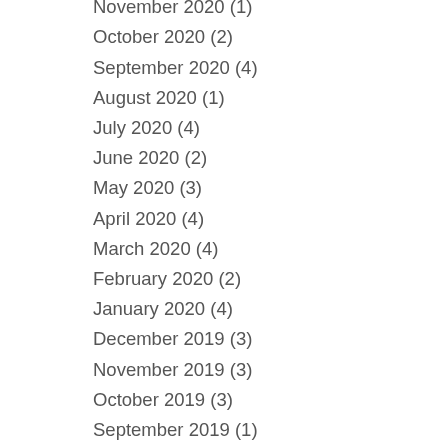November 2020 (1)
October 2020 (2)
September 2020 (4)
August 2020 (1)
July 2020 (4)
June 2020 (2)
May 2020 (3)
April 2020 (4)
March 2020 (4)
February 2020 (2)
January 2020 (4)
December 2019 (3)
November 2019 (3)
October 2019 (3)
September 2019 (1)
August 2019 (3)
July 2019 (3)
May 2019 (2)
April 2019 (2)
March 2019 (2)
February 2019 (?)